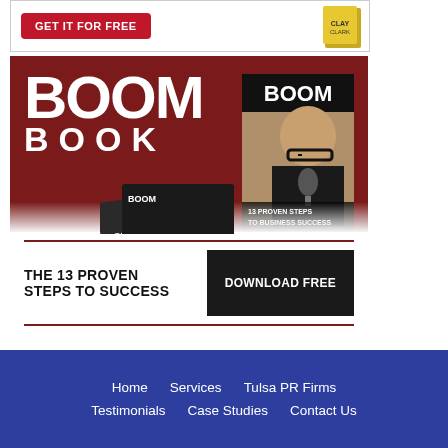[Figure (illustration): Top banner with red 'GET IT FOR FREE' button and book thumbnail on white background]
[Figure (illustration): BOOM BOOK promotional banner with dark red background, large white BOOM BOOK text, magazine cover showing a man with glasses, book stack, and a bottom bar with 'THE 13 PROVEN STEPS TO SUCCESS' text and black 'DOWNLOAD FREE' button]
Home  Services  Tulsa PR Firms  Testimonials  Case Studies  Contact Us